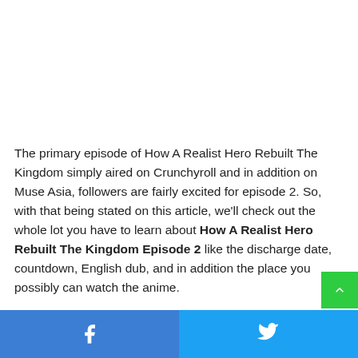The primary episode of How A Realist Hero Rebuilt The Kingdom simply aired on Crunchyroll and in addition on Muse Asia, followers are fairly excited for episode 2. So, with that being stated on this article, we'll check out the whole lot you have to learn about How A Realist Hero Rebuilt The Kingdom Episode 2 like the discharge date, countdown, English dub, and in addition the place you possibly can watch the anime.
[Figure (other): Green scroll-to-top button with upward chevron arrow]
[Figure (other): Social sharing bar with Facebook (blue) and Twitter (light blue) buttons showing their respective icons]